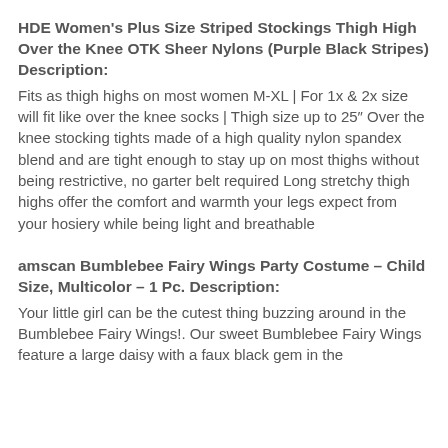HDE Women's Plus Size Striped Stockings Thigh High Over the Knee OTK Sheer Nylons (Purple Black Stripes) Description:
Fits as thigh highs on most women M-XL | For 1x & 2x size will fit like over the knee socks | Thigh size up to 25″ Over the knee stocking tights made of a high quality nylon spandex blend and are tight enough to stay up on most thighs without being restrictive, no garter belt required Long stretchy thigh highs offer the comfort and warmth your legs expect from your hosiery while being light and breathable
amscan Bumblebee Fairy Wings Party Costume – Child Size, Multicolor – 1 Pc. Description:
Your little girl can be the cutest thing buzzing around in the Bumblebee Fairy Wings!. Our sweet Bumblebee Fairy Wings feature a large daisy with a faux black gem in the